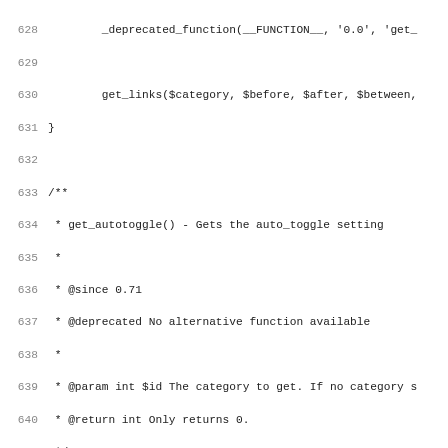Code listing lines 628-659 showing PHP deprecated functions get_autotoggle and related documentation comments